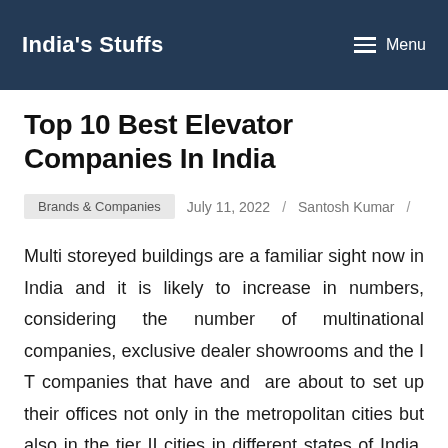India's Stuffs   Menu
Top 10 Best Elevator Companies In India
Brands & Companies   July 11, 2022 / Santosh Kumar /
Multi storeyed buildings are a familiar sight now in India and it is likely to increase in numbers, considering the number of multinational companies, exclusive dealer showrooms and the I T companies that have and are about to set up their offices not only in the metropolitan cities but also in the tier II cities in different states of India. Number of malls and shopping complexes that